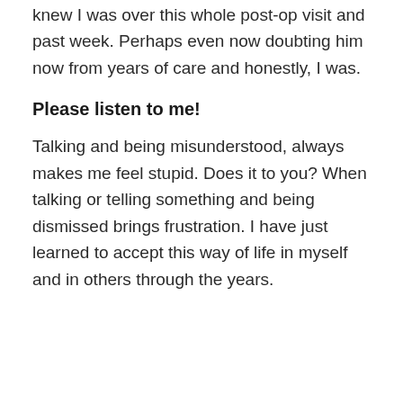knew I was over this whole post-op visit and past week. Perhaps even now doubting him now from years of care and honestly, I was.
Please listen to me!
Talking and being misunderstood, always makes me feel stupid. Does it to you? When talking or telling something and being dismissed brings frustration. I have just learned to accept this way of life in myself and in others through the years.